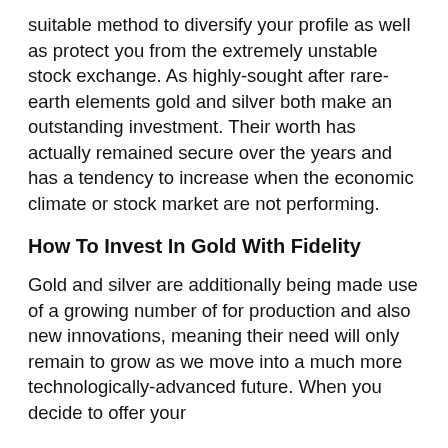suitable method to diversify your profile as well as protect you from the extremely unstable stock exchange. As highly-sought after rare-earth elements gold and silver both make an outstanding investment. Their worth has actually remained secure over the years and has a tendency to increase when the economic climate or stock market are not performing.
How To Invest In Gold With Fidelity
Gold and silver are additionally being made use of a growing number of for production and also new innovations, meaning their need will only remain to grow as we move into a much more technologically-advanced future. When you decide to offer your